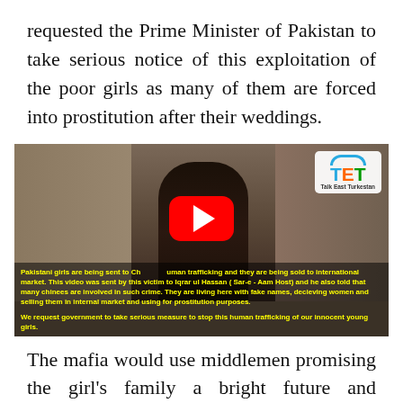requested the Prime Minister of Pakistan to take serious notice of this exploitation of the poor girls as many of them are forced into prostitution after their weddings.
[Figure (screenshot): Video thumbnail showing a woman speaking, with a red YouTube play button overlay, TET (Talk East Turkestan) logo in top right, and yellow subtitle text about Pakistani girls being trafficked to China.]
The mafia would use middlemen promising the girl's family a bright future and financial